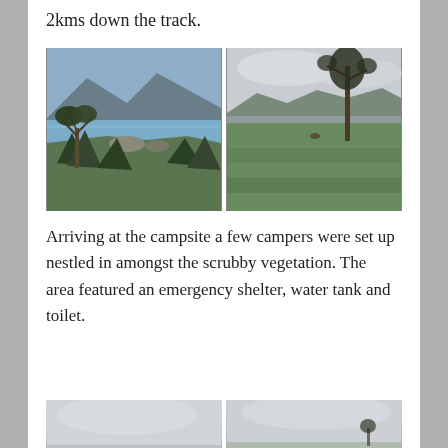2kms down the track.
[Figure (photo): Two side-by-side landscape photos: left shows a coastal scene with mountains, water, rocks, and scrubby vegetation; right shows an open grassy field with a lone tall tree, mountains in background, overcast sky.]
Arriving at the campsite a few campers were set up nestled in amongst the scrubby vegetation. The area featured an emergency shelter, water tank and toilet.
[Figure (photo): Two side-by-side landscape photos partially visible at the bottom of the page, showing overcast sky scenes.]